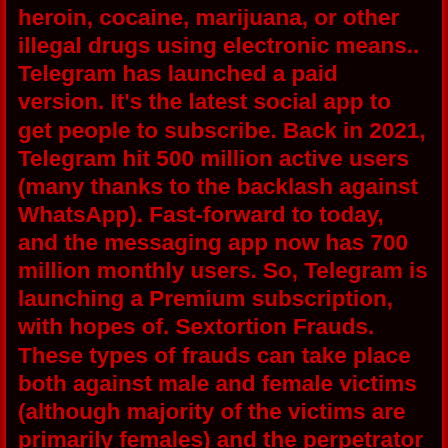heroin, cocaine, marijuana, or other illegal drugs using electronic means.. Telegram has launched a paid version. It's the latest social app to get people to subscribe. Back in 2021, Telegram hit 500 million active users (many thanks to the backlash against WhatsApp). Fast-forward to today, and the messaging app now has 700 million monthly users. So, Telegram is launching a Premium subscription, with hopes of. Sextortion Frauds. These types of frauds can take place both against male and female victims (although majority of the victims are primarily females) and the perpetrator can be both an unknown person or a known one. In such crimes, the culprit usually entices and induces the victim to share their private and nude photographs or videos over. The search warrants accuse inmates in the South Carolina Department of Corrections in what the Army calls a "sextortion" scheme that has been running since at least 2015. U.S. Army. Jul 29, 2022 · (Bloomberg) -- Europe's bumper economic growth is already buckling under the weight of record-breaking inflation and the increasing likelihood of a Russian energy